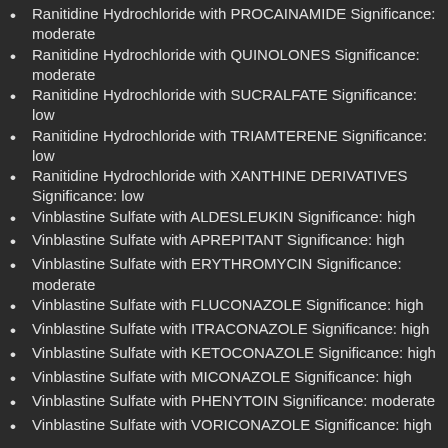Ranitidine Hydrochloride with PROCAINAMIDE Significance: moderate
Ranitidine Hydrochloride with QUINOLONES Significance: moderate
Ranitidine Hydrochloride with SUCRALFATE Significance: low
Ranitidine Hydrochloride with TRIAMTERENE Significance: low
Ranitidine Hydrochloride with XANTHINE DERIVATIVES Significance: low
Vinblastine Sulfate with ALDESLEUKIN Significance: high
Vinblastine Sulfate with APREPITANT Significance: high
Vinblastine Sulfate with ERYTHROMYCIN Significance: moderate
Vinblastine Sulfate with FLUCONAZOLE Significance: high
Vinblastine Sulfate with ITRACONAZOLE Significance: high
Vinblastine Sulfate with KETOCONAZOLE Significance: high
Vinblastine Sulfate with MICONAZOLE Significance: high
Vinblastine Sulfate with PHENYTOIN Significance: moderate
Vinblastine Sulfate with VORICONAZOLE Significance: high